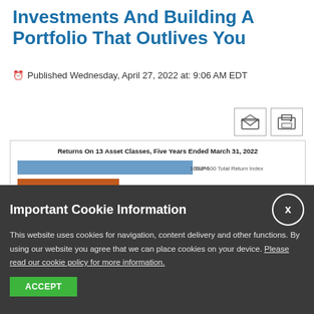Investments And Building A Portfolio That Outlives You
Published Wednesday, April 27, 2022 at: 9:06 AM EDT
[Figure (bar-chart): Returns On 13 Asset Classes, Five Years Ended March 31, 2022]
Important Cookie Information
This website uses cookies for navigation, content delivery and other functions. By using our website you agree that we can place cookies on your device. Please read our cookie policy for more information.
ACCEPT